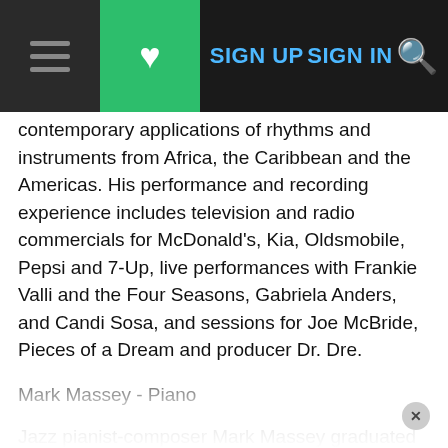Navigation bar with hamburger menu, heart/bookmark icon (green), SIGN UP, SIGN IN links, and search icon
contemporary applications of rhythms and instruments from Africa, the Caribbean and the Americas. His performance and recording experience includes television and radio commercials for McDonald's, Kia, Oldsmobile, Pepsi and 7-Up, live performances with Frankie Valli and the Four Seasons, Gabriela Anders, and Candi Sosa, and sessions for Joe McBride, Pieces of a Dream and producer Dr. Dre.
Mark Massey - Piano
Jazz pianist-composer Mark Massey graduated from California State University, Long Beach (with Bachelors and Masters degrees in Music), where he was recipient of the Carmen Dragon Fellowship for composition and he was dubbed "A Young Giant" by the National Association of Jazz Educators, and of the